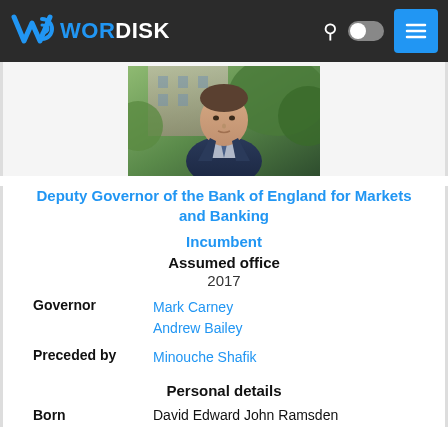WORDISK
[Figure (photo): Portrait photo of a man in a dark suit with a tie, blurred green background]
Deputy Governor of the Bank of England for Markets and Banking
Incumbent
Assumed office
2017
| Governor | Mark Carney
Andrew Bailey |
| Preceded by | Minouche Shafik |
| Personal details |  |
| Born | David Edward John Ramsden |